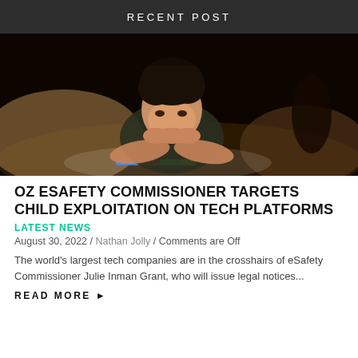RECENT POST
[Figure (photo): A young child lying in bed in a dark room, illuminated from below by a glowing tablet screen, resting chin on hands looking down at the device.]
OZ ESAFETY COMMISSIONER TARGETS CHILD EXPLOITATION ON TECH PLATFORMS
LATEST NEWS
August 30, 2022 / Nathan Jolly / Comments are Off
The world's largest tech companies are in the crosshairs of eSafety Commissioner Julie Inman Grant, who will issue legal notices...
READ MORE ▶